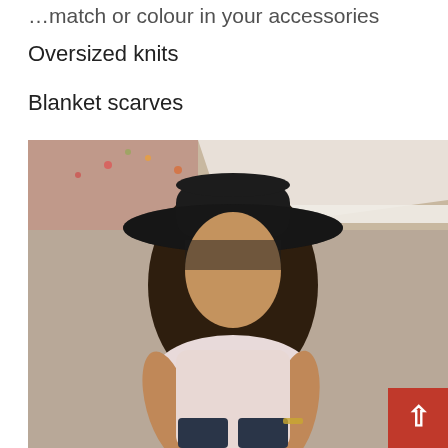…match or colour in your accessories
Oversized knits
Blanket scarves
Ripped skinny jeans
[Figure (photo): A woman wearing a large black wide-brim hat, pink sleeveless top, and dark jeans, sitting outdoors on a tiled/brick surface with scattered leaves and flowers in the background.]